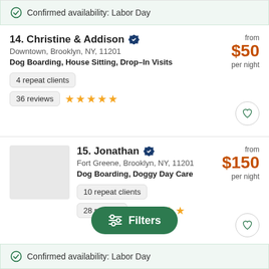Confirmed availability: Labor Day
14. Christine & Addison — Downtown, Brooklyn, NY, 11201 — Dog Boarding, House Sitting, Drop–In Visits — from $50 per night — 4 repeat clients — 36 reviews — 5 stars
15. Jonathan — Fort Greene, Brooklyn, NY, 11201 — Dog Boarding, Doggy Day Care — from $150 per night — 10 repeat clients — 28 reviews — 5 stars
Confirmed availability: Labor Day